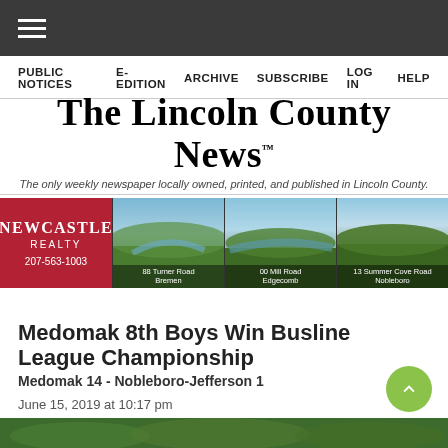≡ (hamburger menu)
PUBLIC NOTICES  E-EDITION  ARCHIVE  SUBSCRIBE  LOG IN  HELP
The Lincoln County News
The only weekly newspaper locally owned, printed, and published in Lincoln County.
[Figure (illustration): Newcastle Realty advertisement banner showing logo on red background and three aerial landscape photos: 88 Turner Road Bremen, 00 Mill Road Edgecomb, 13 Summer Cove Road Nobleboro. Phone: 207-563-1003]
Medomak 8th Boys Win Busline League Championship
Medomak 14 - Nobleboro-Jefferson 1
June 15, 2019 at 10:17 pm
Paula Roberts